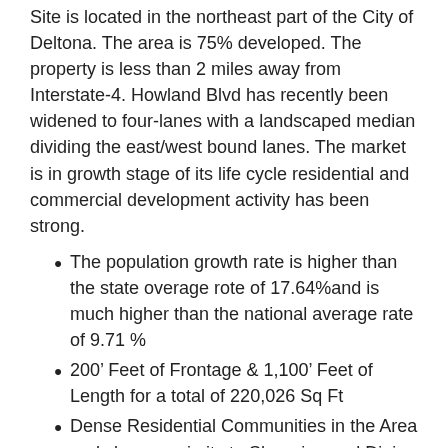Site is located in the northeast part of the City of Deltona. The area is 75% developed. The property is less than 2 miles away from Interstate-4. Howland Blvd has recently been widened to four-lanes with a landscaped median dividing the east/west bound lanes. The market is in growth stage of its life cycle residential and commercial development activity has been strong.
The population growth rate is higher than the state overage rote of 17.64%and is much higher than the national average rate of 9.71 %
200’ Feet of Frontage & 1,100’ Feet of Length for a total of 220,026 Sq Ft
Dense Residential Communities in the Area and close proximity to Shopping and Dining
Population of 97,000 within 5 miles